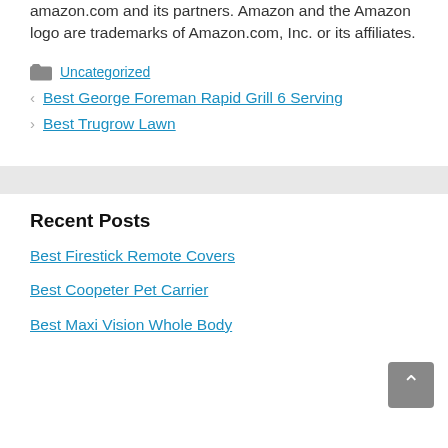amazon.com and its partners. Amazon and the Amazon logo are trademarks of Amazon.com, Inc. or its affiliates.
Uncategorized
Best George Foreman Rapid Grill 6 Serving
Best Trugrow Lawn
Recent Posts
Best Firestick Remote Covers
Best Coopeter Pet Carrier
Best Maxi Vision Whole Body